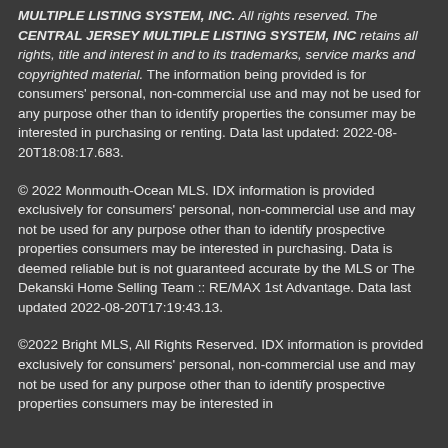MULTIPLE LISTING SYSTEM, INC. All rights reserved. The CENTRAL JERSEY MULTIPLE LISTING SYSTEM, INC retains all rights, title and interest in and to its trademarks, service marks and copyrighted material. The information being provided is for consumers' personal, non-commercial use and may not be used for any purpose other than to identify properties the consumer may be interested in purchasing or renting. Data last updated: 2022-08-20T18:08:17.683.
© 2022 Monmouth-Ocean MLS. IDX information is provided exclusively for consumers' personal, non-commercial use and may not be used for any purpose other than to identify prospective properties consumers may be interested in purchasing. Data is deemed reliable but is not guaranteed accurate by the MLS or The Dekanski Home Selling Team :: RE/MAX 1st Advantage. Data last updated 2022-08-20T17:19:43.13.
©2022 Bright MLS, All Rights Reserved. IDX information is provided exclusively for consumers' personal, non-commercial use and may not be used for any purpose other than to identify prospective properties consumers may be interested in